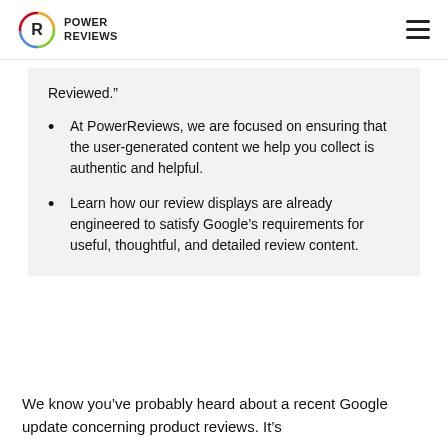POWER REVIEWS
Reviewed.”
At PowerReviews, we are focused on ensuring that the user-generated content we help you collect is authentic and helpful.
Learn how our review displays are already engineered to satisfy Google’s requirements for useful, thoughtful, and detailed review content.
We know you’ve probably heard about a recent Google update concerning product reviews. It’s